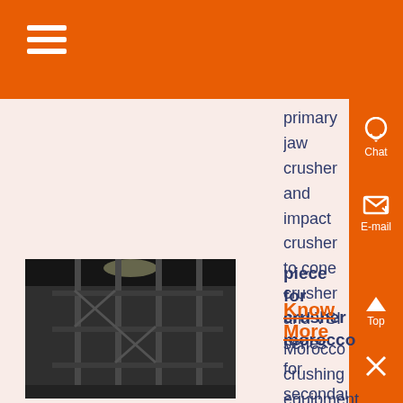primary jaw crusher and impact crusher to cone crusher and VSI series for secondary or tertiary stone crushing, GM can supply the right crusher as well as complete crushing plant to meet your material reduction requirements
[Figure (photo): Industrial facility interior showing metal scaffolding or rack structure with overhead lighting and industrial ceiling]
piece for crusher morocco
Know More
Morocco crushing equipment, Jaw crushers, impact crushers and cone crusher in MoroccoThe rock is dropped between two rigid pieces of metal, of which the